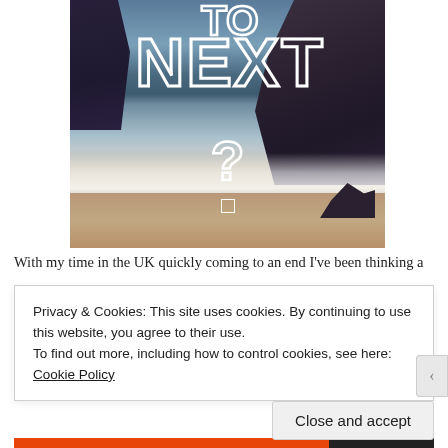[Figure (photo): Aerial or eye-level photo of a coastal beach scene with rocky outcrop, blue ocean waves, sandy shore. Overlaid with large outlined white text reading 'TO', 'NEXT', and '?' in a bold stencil-style font.]
With my time in the UK quickly coming to an end I've been thinking a
Privacy & Cookies: This site uses cookies. By continuing to use this website, you agree to their use.
To find out more, including how to control cookies, see here: Cookie Policy
Close and accept